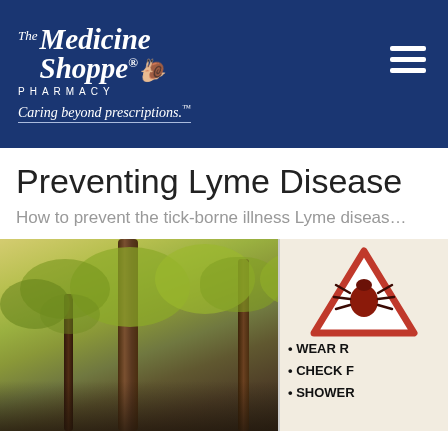[Figure (logo): The Medicine Shoppe Pharmacy logo — white italic serif text on dark navy blue background with tagline 'Caring beyond prescriptions.' and hamburger menu icon]
Preventing Lyme Disease
How to prevent the tick-borne illness Lyme diseas…
[Figure (photo): Forest scene with trees and green foliage on the left, and a warning sign on the right with a tick inside a red triangle, followed by bullet points: WEAR R[EPELLENT], CHECK F[OR TICKS], SHOWER[AFTER OUTDOORS]]